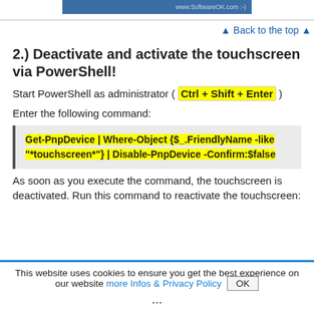[Figure (screenshot): Partial screenshot of a blue browser/application bar with 'www.SoftwareOK.com' watermark text on the right side]
▲ Back to the top ▲
2.) Deactivate and activate the touchscreen via PowerShell!
Start PowerShell as administrator ( Ctrl + Shift + Enter )
Enter the following command:
Get-PnpDevice | Where-Object {$_.FriendlyName -like "*touchscreen*"} | Disable-PnpDevice -Confirm:$false
As soon as you execute the command, the touchscreen is deactivated. Run this command to reactivate the touchscreen:
This website uses cookies to ensure you get the best experience on our website more Infos & Privacy Policy OK